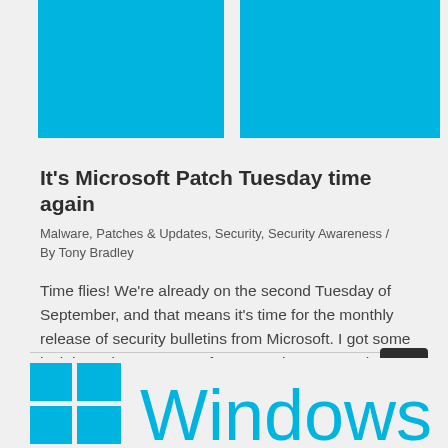[Figure (illustration): Two cyan/blue rectangles side by side at the top of the page, resembling a blog post thumbnail image placeholder]
It’s Microsoft Patch Tuesday time again
Malware, Patches & Updates, Security, Security Awareness / By Tony Bradley
Time flies! We’re already on the second Tuesday of September, and that means it’s time for the monthly release of security bulletins from Microsoft. I got some insight and commentary from security experts about the latest security bulletins and which ...
Read More »
[Figure (logo): Windows 10 logo with four cyan/blue squares arranged in a Windows flag pattern and the text 'Windows 10' in large cyan letters, partially visible at the bottom]